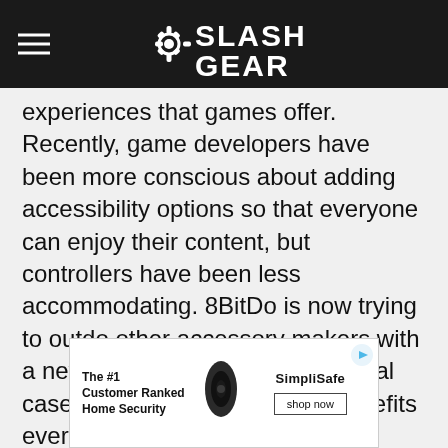SlashGear
experiences that games offer. Recently, game developers have been more conscious about adding accessibility options so that everyone can enjoy their content, but controllers have been less accommodating. 8BitDo is now trying to outdo other accessory makers with a new controller made for a special case that, of course, actually benefits everyone.
[Figure (other): Advertisement banner for SimpliSafe home security with text 'The #1 Customer Ranked Home Security' and a shop now button]